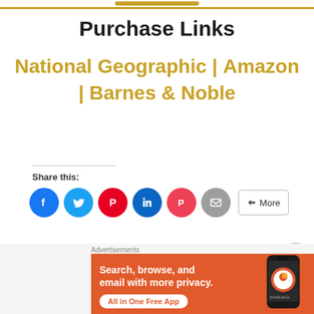Purchase Links
National Geographic | Amazon | Barnes & Noble
Share this:
[Figure (screenshot): Social share buttons: Facebook (blue circle), Twitter (light blue circle), Pinterest (red circle), LinkedIn (dark blue circle), Pocket (pink circle), Email (gray circle), and a More button]
Loading
[Figure (screenshot): DuckDuckGo advertisement banner: orange background with text 'Search, browse, and email with more privacy. All in One Free App' and a phone image with DuckDuckGo logo]